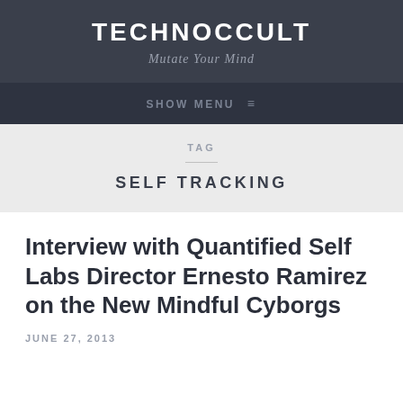TECHNOCCULT
Mutate Your Mind
SHOW MENU ≡
TAG
SELF TRACKING
Interview with Quantified Self Labs Director Ernesto Ramirez on the New Mindful Cyborgs
JUNE 27, 2013